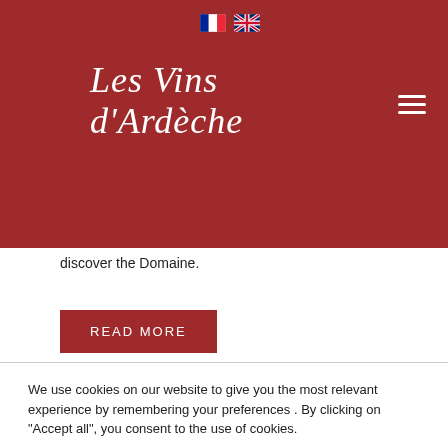[Figure (logo): Les Vins d'Ardèche logo with white italic script text on dark red background, French and UK flag icons, and hamburger menu icon]
discover the Domaine.
Read more
We use cookies on our website to give you the most relevant experience by remembering your preferences . By clicking on "Accept all", you consent to the use of cookies.
Accept
Reject
Privacy policy